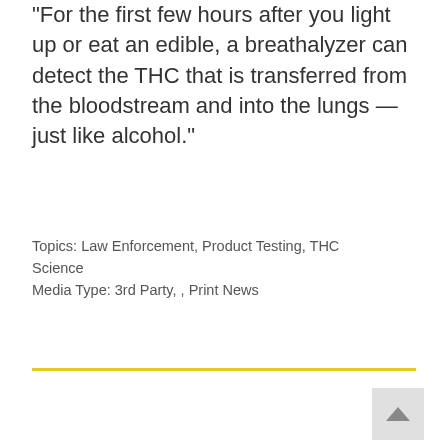"For the first few hours after you light up or eat an edible, a breathalyzer can detect the THC that is transferred from the bloodstream and into the lungs — just like alcohol."
Topics: Law Enforcement, Product Testing, THC Science
Media Type: 3rd Party, , Print News